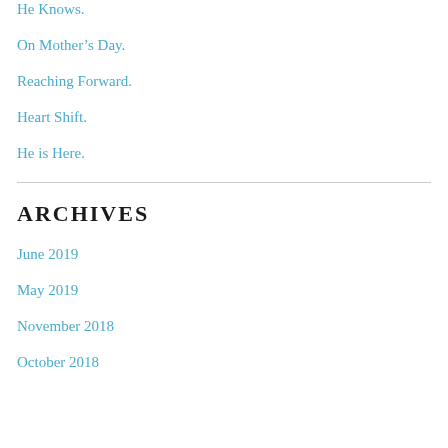He Knows.
On Mother's Day.
Reaching Forward.
Heart Shift.
He is Here.
ARCHIVES
June 2019
May 2019
November 2018
October 2018